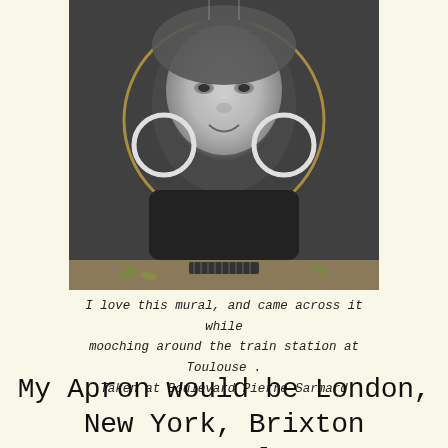[Figure (photo): Black and white street mural of an elderly woman's face with large hoop earrings, painted on a brick wall. The woman is smiling and has deeply wrinkled skin. Below the mural on the ground is a drainage grate and some fallen leaves.]
I love this mural, and came across it while mooching around the train station at Toulouse . Taken at Boulevard Pierre Sarmard
My Apron would be London, New York, Brixton Newcastle.